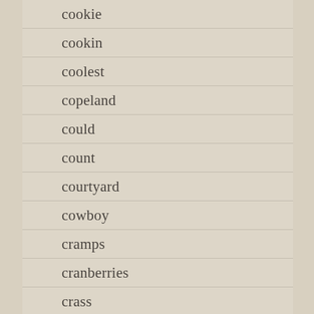cookie
cookin
coolest
copeland
could
count
courtyard
cowboy
cramps
cranberries
crass
crazysexycool
create
creating
creative
creedence